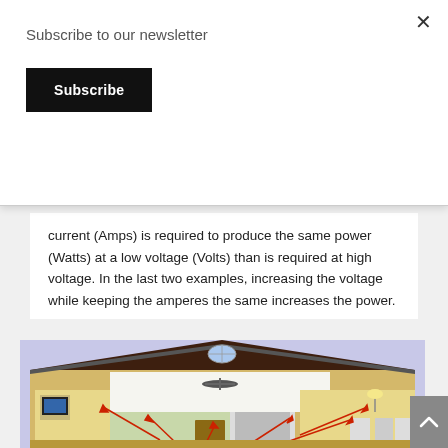Subscribe to our newsletter
Subscribe
current (Amps) is required to produce the same power (Watts) at a low voltage (Volts) than is required at high voltage. In the last two examples, increasing the voltage while keeping the amperes the same increases the power.
[Figure (illustration): Cross-section illustration of a house showing electrical components in various rooms including ceiling fan, TV, appliances, with red arrows pointing to electrical devices]